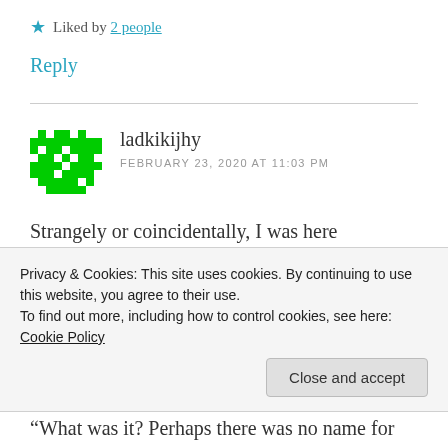★ Liked by 2 people
Reply
ladkijhy
FEBRUARY 23, 2020 AT 11:03 PM
Strangely or coincidentally, I was here yesterday, thinking I had not posted a comment for the last chapter, read it again,
Privacy & Cookies: This site uses cookies. By continuing to use this website, you agree to their use.
To find out more, including how to control cookies, see here: Cookie Policy
Close and accept
"What was it? Perhaps there was no name for